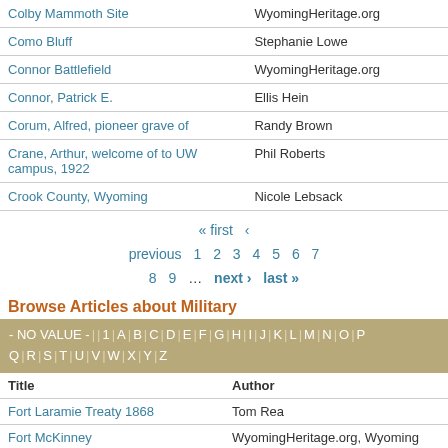| Title | Author |
| --- | --- |
| Colby Mammoth Site | WyomingHeritage.org |
| Como Bluff | Stephanie Lowe |
| Connor Battlefield | WyomingHeritage.org |
| Connor, Patrick E. | Ellis Hein |
| Corum, Alfred, pioneer grave of | Randy Brown |
| Crane, Arthur, welcome of to UW campus, 1922 | Phil Roberts |
| Crook County, Wyoming | Nicole Lebsack |
« first ‹ previous 1 2 3 4 5 6 7 8 9 … next › last »
Browse Articles about Military
- NO VALUE - | | 1 | A | B | C | D | E | F | G | H | I | J | K | L | M | N | O | P | Q | R | S | T | U | V | W | X | Y | Z
| Title | Author |
| --- | --- |
| Fort Laramie Treaty 1868 | Tom Rea |
| Fort McKinney | WyomingHeritage.org, Wyoming State |